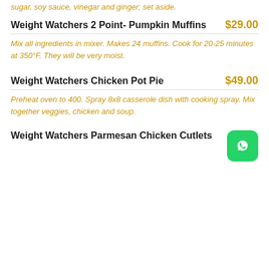sugar, soy sauce, vinegar and ginger; set aside.
Weight Watchers 2 Point- Pumpkin Muffins $29.00
Mix all ingredients in mixer. Makes 24 muffins. Cook for 20-25 minutes at 350°F. They will be very moist.
Weight Watchers Chicken Pot Pie $49.00
Preheat oven to 400. Spray 8x8 casserole dish with cooking spray. Mix together veggies, chicken and soup.
Weight Watchers Parmesan Chicken Cutlets